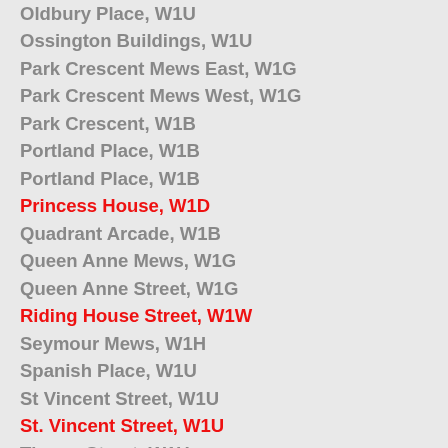Oldbury Place, W1U
Ossington Buildings, W1U
Park Crescent Mews East, W1G
Park Crescent Mews West, W1G
Park Crescent, W1B
Portland Place, W1B
Portland Place, W1B
Princess House, W1D
Quadrant Arcade, W1B
Queen Anne Mews, W1G
Queen Anne Street, W1G
Riding House Street, W1W
Seymour Mews, W1H
Spanish Place, W1U
St Vincent Street, W1U
St. Vincent Street, W1U
Thayer Street, W1U
Treborough House, W1U
Union Street, W1W